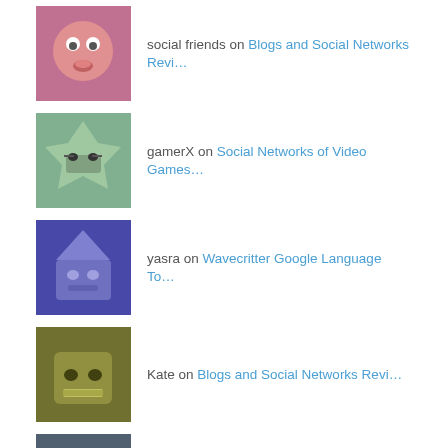social friends on Blogs and Social Networks Revi…
gamerX on Social Networks of Video Games…
yasra on Wavecritter Google Language To…
Kate on Blogs and Social Networks Revi…
gathipackers on Blogs and Social Networks Revi…
Carl Doppler on Blogs and Social Networks Revi…
BLOGS AND SOCIAL NETWORKS TAGS
basic computer skills blogging for beginners blogheiress